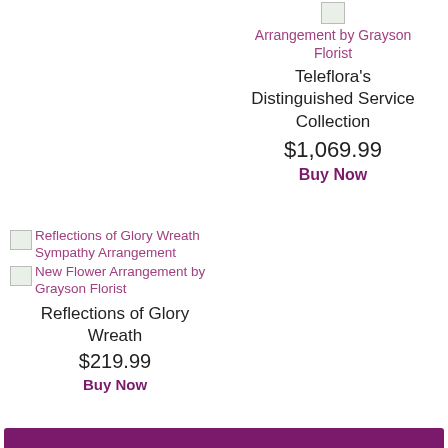[Figure (illustration): Broken image thumbnail for flower arrangement product (top right)]
Arrangement by Grayson Florist
Teleflora's Distinguished Service Collection
$1,069.99
Buy Now
[Figure (illustration): Broken image thumbnail for Reflections of Glory Wreath Sympathy Arrangement]
Reflections of Glory Wreath Sympathy Arrangement
[Figure (illustration): Broken image thumbnail labeled New Flower Arrangement by Grayson Florist]
New Flower Arrangement by Grayson Florist
Reflections of Glory Wreath
$219.99
Buy Now